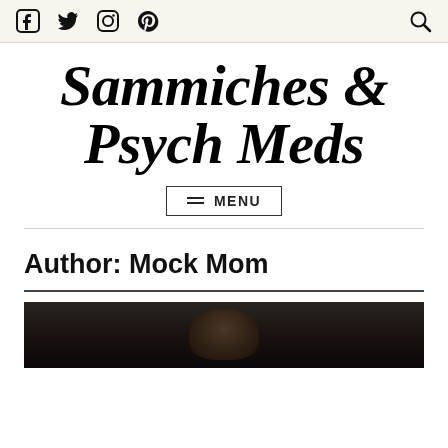Social icons: Facebook, Twitter, Instagram, Pinterest; Search icon
Sammiches & Psych Meds
MENU
Author: Mock Mom
[Figure (photo): Dark photo showing top of person's head/hair at bottom of page]